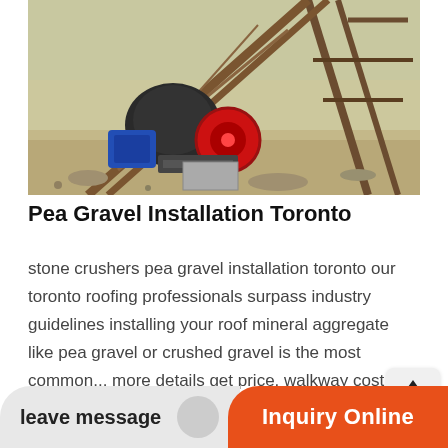[Figure (photo): Industrial stone crusher machine on a construction/mining site, showing heavy equipment with blue motor, red wheel, and metal frame structure outdoors on dry ground]
Pea Gravel Installation Toronto
stone crushers pea gravel installation toronto our toronto roofing professionals surpass industry guidelines installing your roof mineral aggregate like pea gravel or crushed gravel is the most common... more details get price. walkway cost - landscaping network.